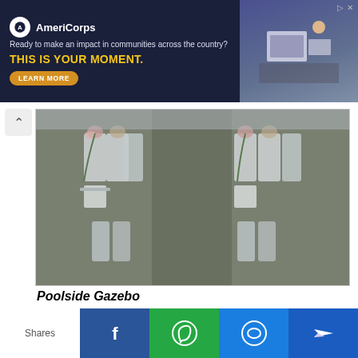[Figure (infographic): AmeriCorps advertisement banner with dark navy background. Left side shows AmeriCorps logo, tagline 'Ready to make an impact in communities across the country?', headline 'THIS IS YOUR MOMENT.' in yellow, and a 'LEARN MORE' button. Right side shows a photo of people working at computers.]
[Figure (photo): Wedding ceremony setup with elegant chiavari chairs decorated with floral arrangements and greenery, arranged in rows along an aisle, in an indoor venue.]
Poolside Gazebo
Love the outdoors instead? With room for up to 40 guests, the Poolside Gazebo next to Renaissance Kuala Lumpur Hotel's famed Olympic-sized swimming pool is perfect for outdoor lovers looking for an intimate ceremony. Be it an intimate sunset wedding, a traditional tea ceremony, or a reception under the stars, the blue water in the background